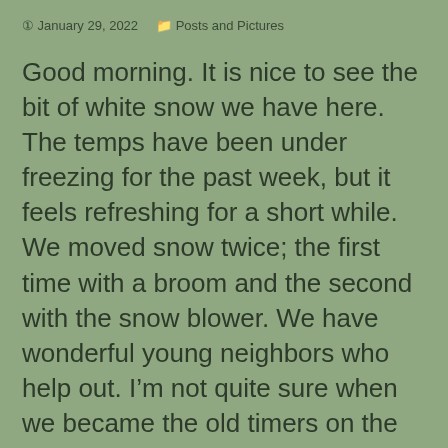January 29, 2022   Posts and Pictures
Good morning. It is nice to see the bit of white snow we have here. The temps have been under freezing for the past week, but it feels refreshing for a short while. We moved snow twice; the first time with a broom and the second with the snow blower. We have wonderful young neighbors who help out. I’m not quite sure when we became the old timers on the block, but I guess we’re here.
After a lengthy period of resting my hand hand it is good to get back to punching